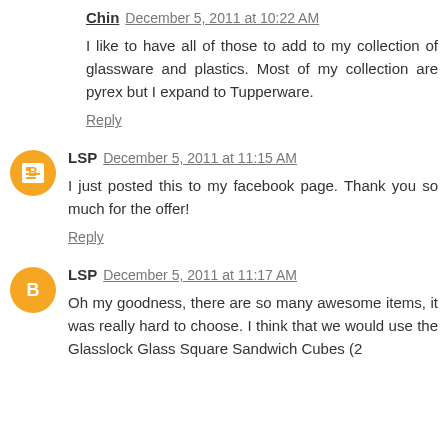Chin  December 5, 2011 at 10:22 AM
I like to have all of those to add to my collection of glassware and plastics. Most of my collection are pyrex but I expand to Tupperware.
Reply
LSP  December 5, 2011 at 11:15 AM
I just posted this to my facebook page. Thank you so much for the offer!
Reply
LSP  December 5, 2011 at 11:17 AM
Oh my goodness, there are so many awesome items, it was really hard to choose. I think that we would use the Glasslock Glass Square Sandwich Cubes (2...